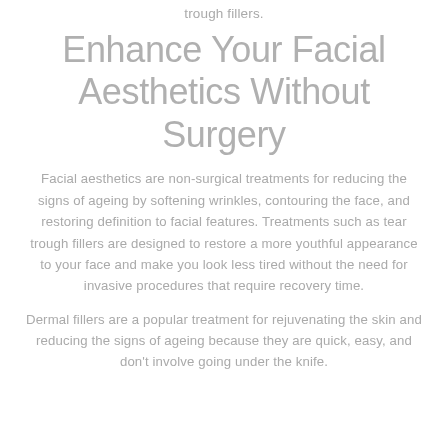trough fillers.
Enhance Your Facial Aesthetics Without Surgery
Facial aesthetics are non-surgical treatments for reducing the signs of ageing by softening wrinkles, contouring the face, and restoring definition to facial features. Treatments such as tear trough fillers are designed to restore a more youthful appearance to your face and make you look less tired without the need for invasive procedures that require recovery time.
Dermal fillers are a popular treatment for rejuvenating the skin and reducing the signs of ageing because they are quick, easy, and don't involve going under the knife.